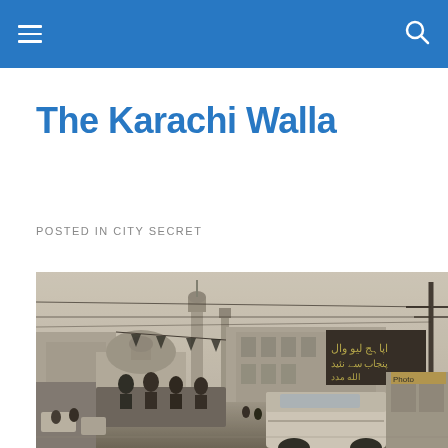≡  🔍
The Karachi Walla
POSTED IN CITY SECRET
[Figure (photo): Black and white vintage photograph of a busy street scene in Karachi, showing colonial-era architecture including a domed building and a tall minaret in the background, Urdu signage on a large billboard, utility poles, and vehicles including a white van in the foreground with people crowded on top of a truck.]